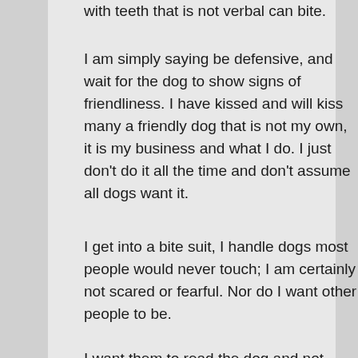with teeth that is not verbal can bite.
I am simply saying be defensive, and wait for the dog to show signs of friendliness. I have kissed and will kiss many a friendly dog that is not my own, it is my business and what I do. I just don't do it all the time and don't assume all dogs want it.
I get into a bite suit, I handle dogs most people would never touch; I am certainly not scared or fearful. Nor do I want other people to be.
I want them to read the dog and not push it, and not put themselves into a situation where they could quickly and permanently